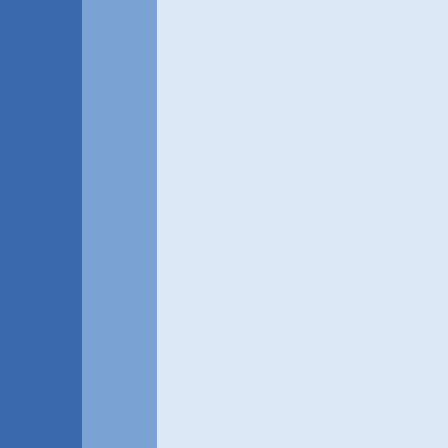were clearly doing something... (although it seems that recently along with dancers are being a conservatives that got voted in my guess that they tend to ignore the whole reason for the raid is arresting customers (or even cause more political backlash point to the raid in the first place is careful to make sufficient... can be pretty darn safe from the club. (i've actually heard th or twice... ah, you know, Chuc 😁 )

and a raid isn't even the bigger used is one or two undercover good citizen's tax dollars buyin purposely try to grope and for allowed to, and even though t undercover's lap would be tell batting his hands away, as long quick illegal touch, he'll arrest room he "saw" doing anything the probable cause chain as i cases go before a judge that i try to disprove.

where i live, over the past 6 m have found it more advantage